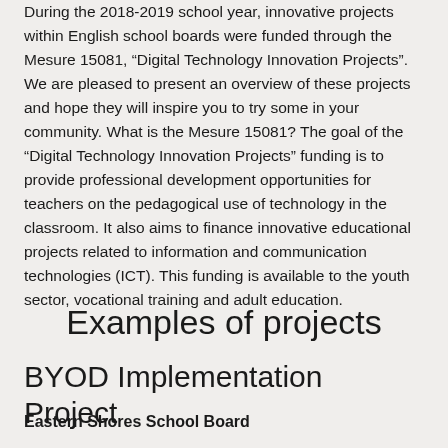During the 2018-2019 school year, innovative projects within English school boards were funded through the Mesure 15081, “Digital Technology Innovation Projects”. We are pleased to present an overview of these projects and hope they will inspire you to try some in your community. What is the Mesure 15081? The goal of the “Digital Technology Innovation Projects” funding is to provide professional development opportunities for teachers on the pedagogical use of technology in the classroom. It also aims to finance innovative educational projects related to information and communication technologies (ICT). This funding is available to the youth sector, vocational training and adult education.
Examples of projects
BYOD Implementation Project
Eastern Shores School Board